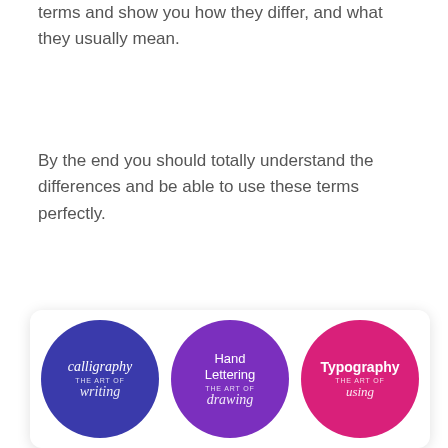terms and show you how they differ, and what they usually mean.
By the end you should totally understand the differences and be able to use these terms perfectly.
[Figure (illustration): Three colored circles on a white rounded card: (1) dark blue circle with italic script 'calligraphy' and text 'THE ART OF writing', (2) purple circle with 'Hand Lettering' and 'THE ART OF drawing', (3) pink/magenta circle with bold 'Typography' and 'THE ART OF using']